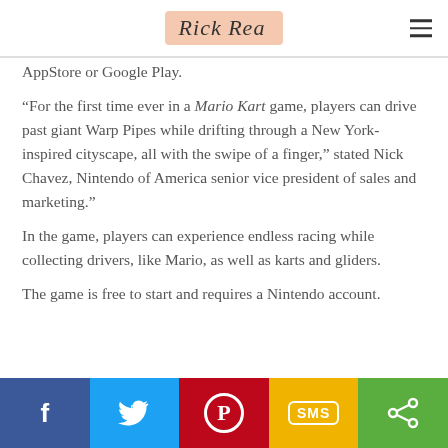Rick Rea
AppStore or Google Play.
“For the first time ever in a Mario Kart game, players can drive past giant Warp Pipes while drifting through a New York-inspired cityscape, all with the swipe of a finger,” stated Nick Chavez, Nintendo of America senior vice president of sales and marketing.”
In the game, players can experience endless racing while collecting drivers, like Mario, as well as karts and gliders.
The game is free to start and requires a Nintendo account.